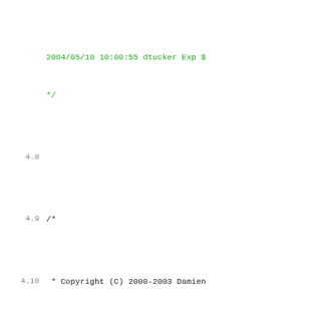2004/05/10 10:00:55 dtucker Exp $
 */
4.8
4.9   /*
4.10   * Copyright (C) 2000-2003 Damien Miller.  All rights reserved.
4.11 @@ -41,7 +43,6 @@
4.12   #define _FAKE_RFC2553_H
4.13
4.14   #include "includes.h"
4.15 -#include "sys/types.h"
4.16
4.17   /*
4.18   * First, socket and INET6 related definitions
5.1 --- a/includes.h      Thu Aug 12 14:19:05 2004 +0000
5.2 +++ b/includes.h      Thu Aug 12 14:39:17 2004 +0000
5.3 @@ -119,6 +119,7 @@
5.4   #include "libtommath/tommath.h"
5.5
5.6   #include "compat.h"
5.7 +#include "fake-rfc2553.h"
5.8
5.9   #ifndef HAVE_UINT16_T
5.10   #ifndef HAVE_U_INT16_T